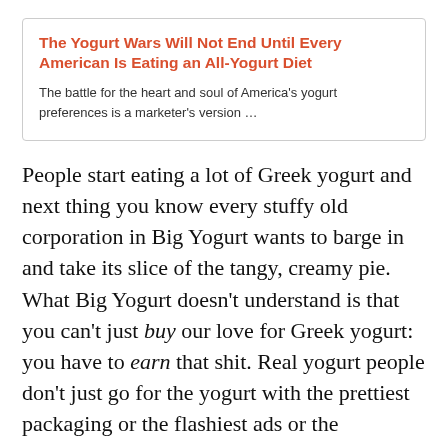The Yogurt Wars Will Not End Until Every American Is Eating an All-Yogurt Diet
The battle for the heart and soul of America's yogurt preferences is a marketer's version …
People start eating a lot of Greek yogurt and next thing you know every stuffy old corporation in Big Yogurt wants to barge in and take its slice of the tangy, creamy pie. What Big Yogurt doesn't understand is that you can't just buy our love for Greek yogurt: you have to earn that shit. Real yogurt people don't just go for the yogurt with the prettiest packaging or the flashiest ads or the endorsement of celebrities with bowel problems. We look for taste. And what we want in Greek yogurt is a yogurt that is thick and creamy and a little tangy to the